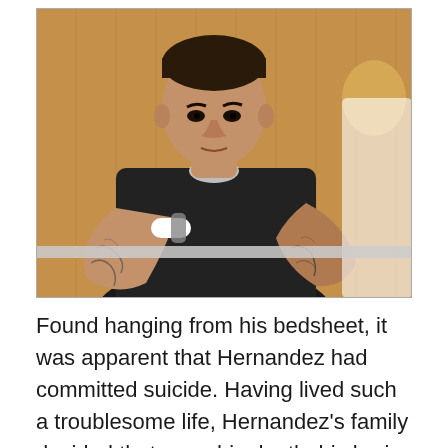[Figure (photo): A man in a dark prison uniform with heavy tattoos on his arms, sitting in a courtroom with handcuffs visible, with another person partially visible to his right. Wooden paneled background.]
Found hanging from his bedsheet, it was apparent that Hernandez had committed suicide. Having lived such a troublesome life, Hernandez's family decided that upon his death, his brain should be donated to science. As